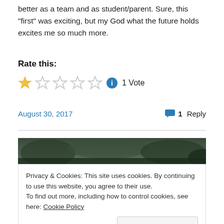better as a team and as student/parent. Sure, this “first” was exciting, but my God what the future holds excites me so much more.
Rate this:
[Figure (other): Star rating widget showing 1 filled star and 4 empty stars, with an info icon and '1 Vote' label]
August 30, 2017   ↗ 1 Reply
[Figure (photo): Dark green nature/foliage photo banner]
Privacy & Cookies: This site uses cookies. By continuing to use this website, you agree to their use.
To find out more, including how to control cookies, see here: Cookie Policy
Close and accept